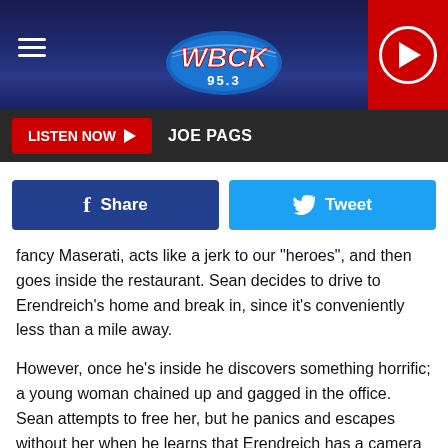[Figure (screenshot): WBCK 95.3 FM radio station website header with logo, hamburger menu, and red play button]
LISTEN NOW  JOE PAGS
[Figure (infographic): Facebook Share and Twitter Tweet social sharing buttons]
fancy Maserati, acts like a jerk to our "heroes", and then goes inside the restaurant. Sean decides to drive to Erendreich's home and break in, since it's conveniently less than a mile away.
However, once he's inside he discovers something horrific; a young woman chained up and gagged in the office. Sean attempts to free her, but he panics and escapes without her when he learns that Erendreich has a camera installed in the room.
What follows is what I guess I have to describe as a game of